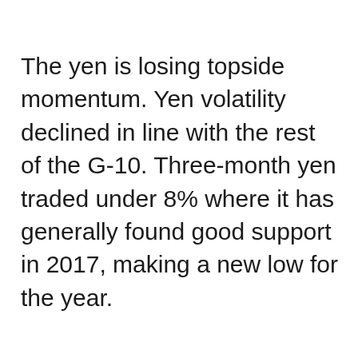The yen is losing topside momentum. Yen volatility declined in line with the rest of the G-10. Three-month yen traded under 8% where it has generally found good support in 2017, making a new low for the year.